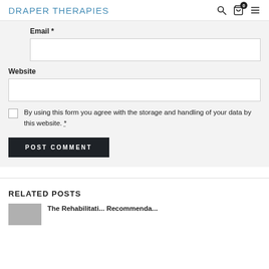DRAPER THERAPIES
Email *
Website
By using this form you agree with the storage and handling of your data by this website. *
POST COMMENT
RELATED POSTS